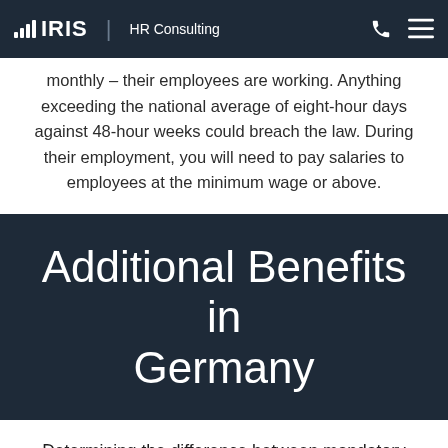IRIS HR Consulting
monthly – their employees are working. Anything exceeding the national average of eight-hour days against 48-hour weeks could breach the law. During their employment, you will need to pay salaries to employees at the minimum wage or above.
Additional Benefits in Germany
Determining the difference between mandatory and additional working perks is a key concern for businesses looking to expand into Germany.